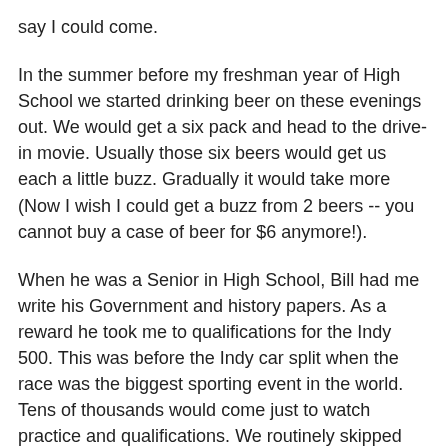say I could come.
In the summer before my freshman year of High School we started drinking beer on these evenings out. We would get a six pack and head to the drive-in movie. Usually those six beers would get us each a little buzz. Gradually it would take more (Now I wish I could get a buzz from 2 beers -- you cannot buy a case of beer for $6 anymore!).
When he was a Senior in High School, Bill had me write his Government and history papers. As a reward he took me to qualifications for the Indy 500. This was before the Indy car split when the race was the biggest sporting event in the world. Tens of thousands would come just to watch practice and qualifications. We routinely skipped school to go to the track just to watch cars practice. Daytona has speed week, Indy had the entire month of May.
Inside the first turn was what was known as "the snake pit". This was an area of perpetual party. You could see and experience ANYTHING here. At the end of the day there was always at least one old car on fire. Couches, kegs and